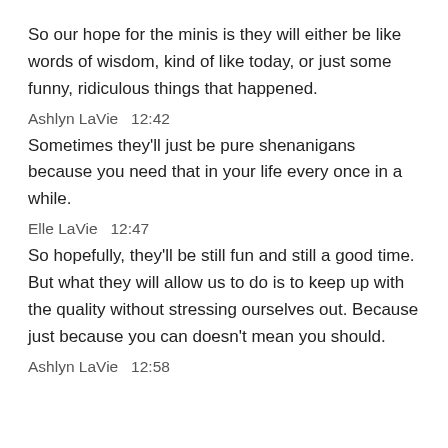So our hope for the minis is they will either be like words of wisdom, kind of like today, or just some funny, ridiculous things that happened.
Ashlyn LaVie  12:42
Sometimes they'll just be pure shenanigans because you need that in your life every once in a while.
Elle LaVie  12:47
So hopefully, they'll be still fun and still a good time. But what they will allow us to do is to keep up with the quality without stressing ourselves out. Because just because you can doesn't mean you should.
Ashlyn LaVie  12:58